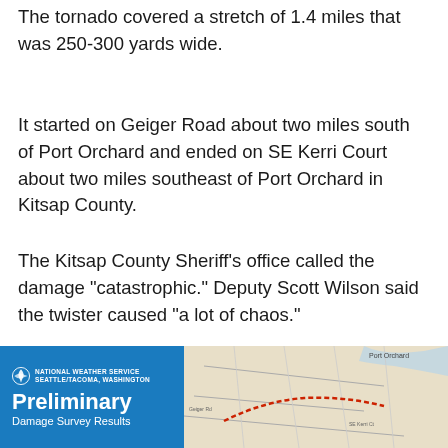The tornado covered a stretch of 1.4 miles that was 250-300 yards wide.
It started on Geiger Road about two miles south of Port Orchard and ended on SE Kerri Court about two miles southeast of Port Orchard in Kitsap County.
The Kitsap County Sheriff's office called the damage "catastrophic." Deputy Scott Wilson said the twister caused "a lot of chaos."
"It's traumatic, especially as we approach the Christmas season," Wilson said.
[Figure (map): National Weather Service Preliminary Damage Survey Results panel with a map showing the tornado path near Port Orchard in Kitsap County.]